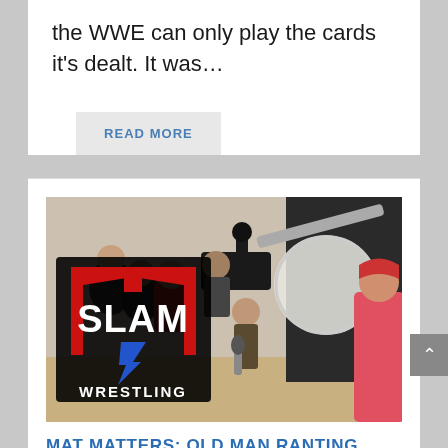the WWE can only play the cards it's dealt. It was…
READ MORE
[Figure (photo): Photo of a wrestling media event with a Slam Wrestling logo overlay. People and camera crew visible in background, person in red shirt and bandana on right side.]
MAT MATTERS: OLD MAN RANTING
Posted by Greg Oliver | Dec 18, 2014 | Opinion